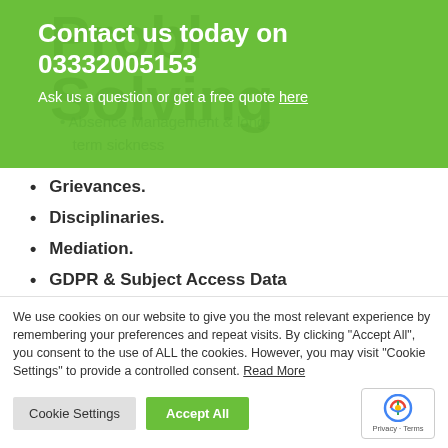Contact us today on 03332005153
Ask us a question or get a free quote here
Absence Management & long-term sickness
Grievances.
Disciplinaries.
Mediation.
GDPR & Subject Access Data
We use cookies on our website to give you the most relevant experience by remembering your preferences and repeat visits. By clicking "Accept All", you consent to the use of ALL the cookies. However, you may visit "Cookie Settings" to provide a controlled consent. Read More